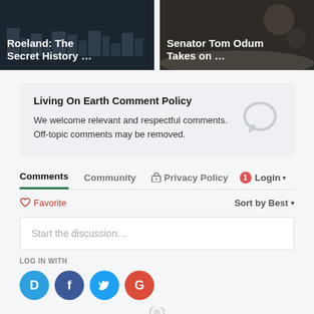[Figure (screenshot): Two article thumbnail cards side by side. Left card has dark blue-gray background with white bold text 'Roeland: The Secret History …'. Right card has dark brownish background with white bold text 'Senator Tom Odum Takes on …'.]
Living On Earth Comment Policy
We welcome relevant and respectful comments. Off-topic comments may be removed.
Comments  Community  🔒 Privacy Policy  🔴1 Login ▾
♡ Favorite   Sort by Best ▾
Start the discussion…
LOG IN WITH
[Figure (illustration): Four social login icons: Disqus (blue speech bubble with D), Facebook (dark blue circle with f), Twitter (light blue circle with bird), Google (red circle with G).]